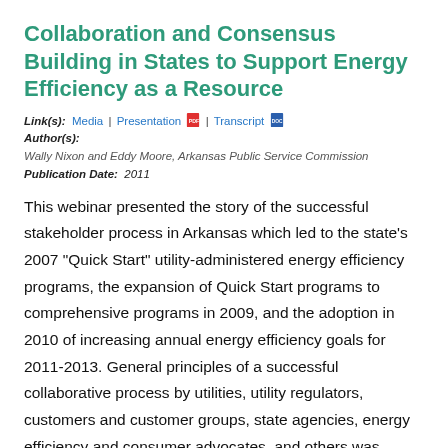Collaboration and Consensus Building in States to Support Energy Efficiency as a Resource
Link(s): Media | Presentation | Transcript
Author(s):
Wally Nixon and Eddy Moore, Arkansas Public Service Commission
Publication Date: 2011
This webinar presented the story of the successful stakeholder process in Arkansas which led to the state's 2007 "Quick Start" utility-administered energy efficiency programs, the expansion of Quick Start programs to comprehensive programs in 2009, and the adoption in 2010 of increasing annual energy efficiency goals for 2011-2013. General principles of a successful collaborative process by utilities, utility regulators, customers and customer groups, state agencies, energy efficiency and consumer advocates, and others was discussed.